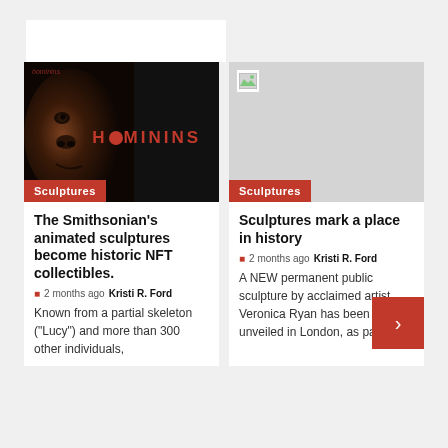[Figure (photo): Dark primate face (hominin/Lucy) on black background with HOMININS text in red, with a red dot replacing the O]
Sculptures
[Figure (photo): Broken/missing image placeholder on grey background]
Sculptures
The Smithsonian's animated sculptures become historic NFT collectibles.
2 months ago  Kristi R. Ford
Known from a partial skeleton ("Lucy") and more than 300 other individuals,
Sculptures mark a place in history
2 months ago  Kristi R. Ford
A NEW permanent public sculpture by acclaimed artist Veronica Ryan has been unveiled in London, as part of...